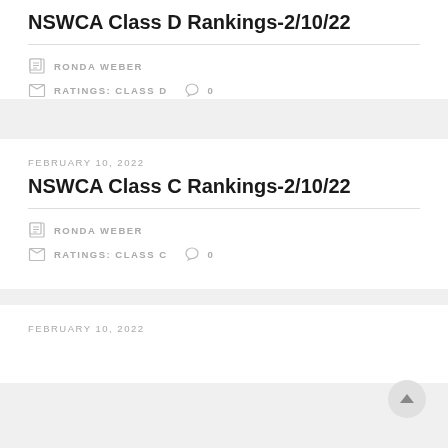NSWCA Class D Rankings-2/10/22
RONDA WEBER
RATINGS: CLASS D  0
FEBRUARY 10, 2022
NSWCA Class C Rankings-2/10/22
RONDA WEBER
RATINGS: CLASS C  0
FEBRUARY 10, 2022